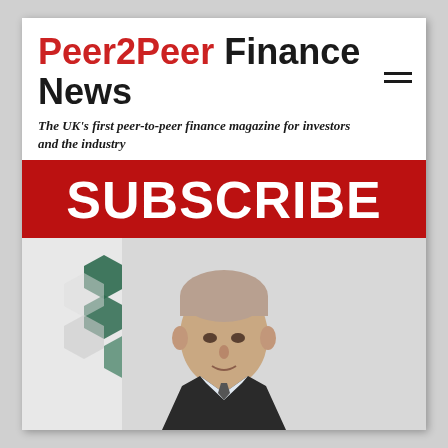Peer2Peer Finance News
The UK’s first peer-to-peer finance magazine for investors and the industry
[Figure (other): Red SUBSCRIBE banner button]
[Figure (photo): Portrait photo of a man in a suit with green hexagonal shapes in background]